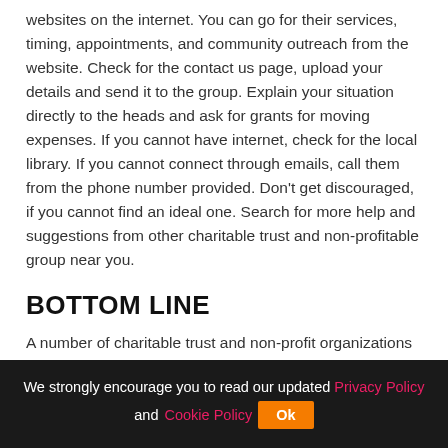websites on the internet. You can go for their services, timing, appointments, and community outreach from the website. Check for the contact us page, upload your details and send it to the group. Explain your situation directly to the heads and ask for grants for moving expenses. If you cannot have internet, check for the local library. If you cannot connect through emails, call them from the phone number provided. Don't get discouraged, if you cannot find an ideal one. Search for more help and suggestions from other charitable trust and non-profitable group near you.
BOTTOM LINE
A number of charitable trust and non-profit organizations are there to help you. State Welfare agencies, Safe Shelters, Salvation Army, are a few of them. If you need
We strongly encourage you to read our updated Privacy Policy and Cookie Policy